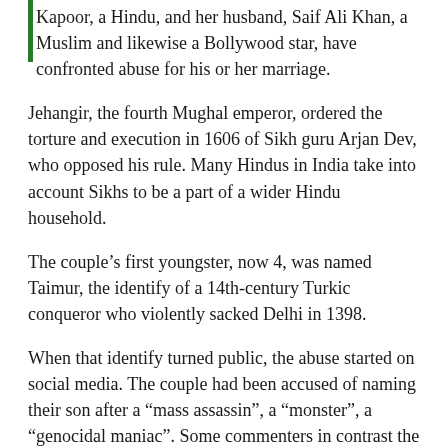Kapoor, a Hindu, and her husband, Saif Ali Khan, a Muslim and likewise a Bollywood star, have confronted abuse for his or her marriage.
Jehangir, the fourth Mughal emperor, ordered the torture and execution in 1606 of Sikh guru Arjan Dev, who opposed his rule. Many Hindus in India take into account Sikhs to be a part of a wider Hindu household.
The couple’s first youngster, now 4, was named Taimur, the identify of a 14th-century Turkic conqueror who violently sacked Delhi in 1398.
When that identify turned public, the abuse started on social media. The couple had been accused of naming their son after a “mass assassin”, a “monster”, a “genocidal maniac”. Some commenters in contrast the selection to naming a child Hitler.
Kapoor stated she has been scarred by the web abuse and Khan